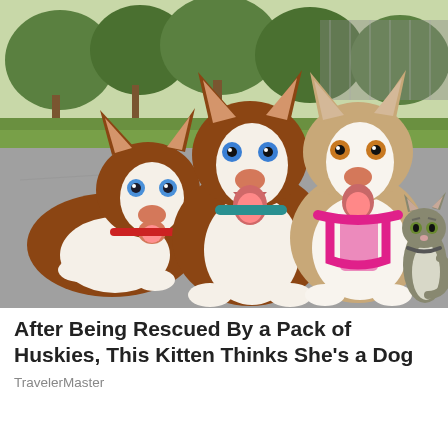[Figure (photo): Three Siberian Huskies and a small tabby kitten sitting together on pavement outdoors. The huskies are brown and white with blue/amber eyes, two with mouths open and tongues out. One husky wears a red harness, one a teal collar, and one a pink harness. The kitten sits on the far right. Trees and a grassy area are visible in the background.]
After Being Rescued By a Pack of Huskies, This Kitten Thinks She's a Dog
TravelerMaster